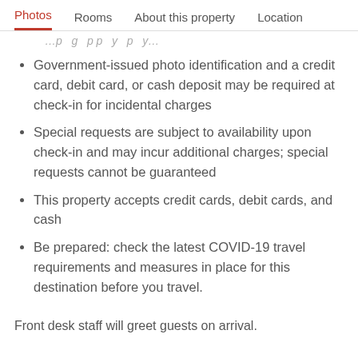Photos  Rooms  About this property  Location
…p  g  p p  y  p  y…
Government-issued photo identification and a credit card, debit card, or cash deposit may be required at check-in for incidental charges
Special requests are subject to availability upon check-in and may incur additional charges; special requests cannot be guaranteed
This property accepts credit cards, debit cards, and cash
Be prepared: check the latest COVID-19 travel requirements and measures in place for this destination before you travel.
Front desk staff will greet guests on arrival.